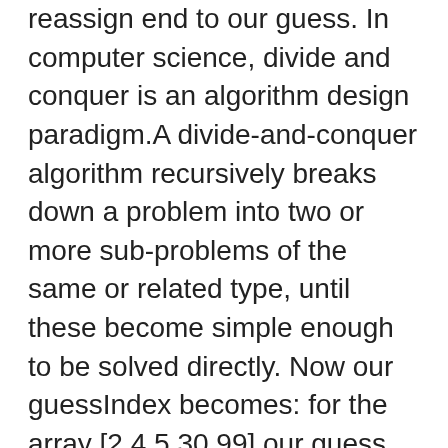reassign end to our guess. In computer science, divide and conquer is an algorithm design paradigm.A divide-and-conquer algorithm recursively breaks down a problem into two or more sub-problems of the same or related type, until these become simple enough to be solved directly. Now our guessIndex becomes: for the array [2,4,5,30,99] our guess will initially be 2; Lets look at what our code will do: If our start is reassigned to 2. arr[guessIndex] will return the element at the 4th index. How to implement asynchronous loop in JavaScript? Lets look at the next block of code if the guessIndex was too small: This shifts our focus to the top half of the array. If the subproblem is small enough, then